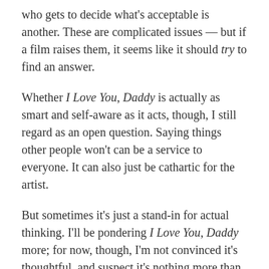who gets to decide what's acceptable is another. These are complicated issues — but if a film raises them, it seems like it should try to find an answer.
Whether I Love You, Daddy is actually as smart and self-aware as it acts, though, I still regard as an open question. Saying things other people won't can be a service to everyone. It can also just be cathartic for the artist.
But sometimes it's just a stand-in for actual thinking. I'll be pondering I Love You, Daddy more; for now, though, I'm not convinced it's thoughtful, and suspect it's nothing more than clever and funny provocation for provocation's sake. Which, sure, is a choice an artist can make. But if you're choosing to sow mines in a minefield, you can't be too surprised if one blows up in your face.